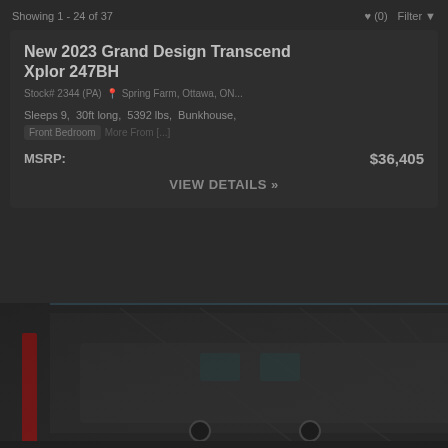Showing 1 - 24 of 37
New 2023 Grand Design Transcend Xplor 247BH
Stock# 2344 (PA)   Spring Farm, Ottawa, ON...
Sleeps 9,  30ft long,  5392 lbs,  Bunkhouse, Front Bedroom
More From [...]
MSRP:  $36,405
VIEW DETAILS »
[Figure (photo): RV trailer image at bottom of page, partially visible, dark background]